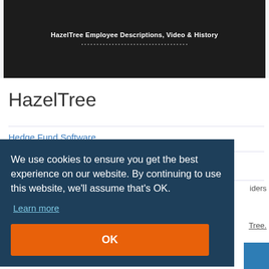[Figure (screenshot): Dark banner at top showing company header/logo area with white text on dark background]
HazelTree
Hedge Fund Software
Review this company
We use cookies to ensure you get the best experience on our website. By continuing to use this website, we'll assume that's OK.
Learn more
OK